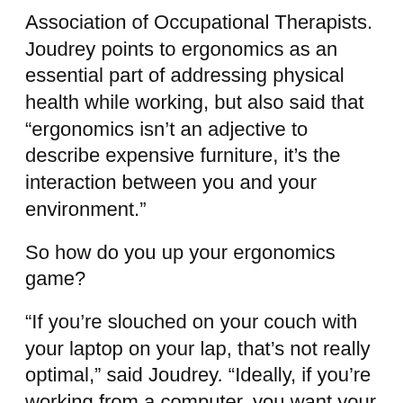Association of Occupational Therapists. Joudrey points to ergonomics as an essential part of addressing physical health while working, but also said that “ergonomics isn’t an adjective to describe expensive furniture, it’s the interaction between you and your environment.”
So how do you up your ergonomics game?
“If you’re slouched on your couch with your laptop on your lap, that’s not really optimal,” said Joudrey. “Ideally, if you’re working from a computer, you want your feet flat on the floor and your hips, knees and ankles should be at 90 degrees.”